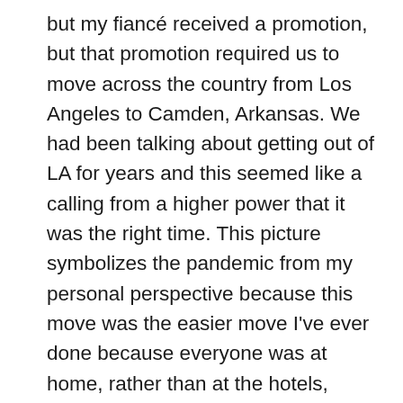but my fiancé received a promotion, but that promotion required us to move across the country from Los Angeles to Camden, Arkansas. We had been talking about getting out of LA for years and this seemed like a calling from a higher power that it was the right time. This picture symbolizes the pandemic from my personal perspective because this move was the easier move I've ever done because everyone was at home, rather than at the hotels, restaurants, and rest stops that we needed to travel to in order to reach our new home. However, it also gave us a unique perspective to see the country without all of the people in it. When we were driving across Arizona, New Mexico, and Texas it was shocking how little traffic there was and how there seemed to be no one around. When we took a flight